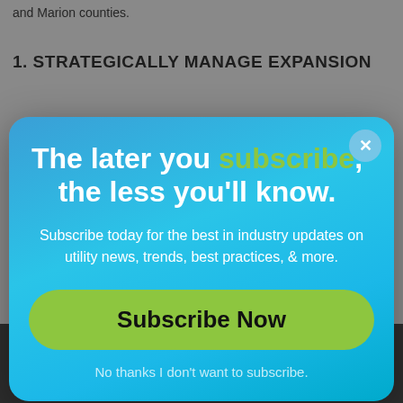and Marion counties.
1. STRATEGICALLY MANAGE EXPANSION
[Figure (screenshot): Subscription modal popup with gradient blue background. Contains headline 'The later you subscribe, the less you'll know.' with 'subscribe' in green. Subtext: 'Subscribe today for the best in industry updates on utility news, trends, best practices, & more.' A green 'Subscribe Now' button and a dismissal link 'No thanks I don't want to subscribe.' A close (X) button in the top right corner.]
Subscribe Now
No thanks I don't want to subscribe.
SIGN UP